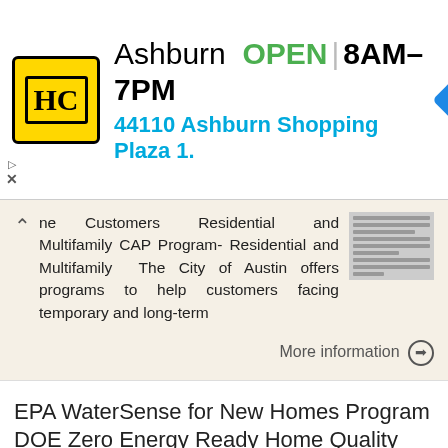[Figure (screenshot): Advertisement banner showing HC logo, Ashburn location OPEN 8AM-7PM, address 44110 Ashburn Shopping Plaza 1., with a blue navigation diamond arrow icon]
ne Customers Residential and Multifamily CAP Program- Residential and Multifamily The City of Austin offers programs to help customers facing temporary and long-term
More information
EPA WaterSense for New Homes Program DOE Zero Energy Ready Home Quality Management Guidelines
22 Harbor Ave Dunhill Companies LTD John S. Rodenhizer 10/28/2014 EPA WaterSense for New Homes Program DOE Zero Energy Ready Home Quality Management Guidelines- 7 REM/Rate - Residential Energy Analysis